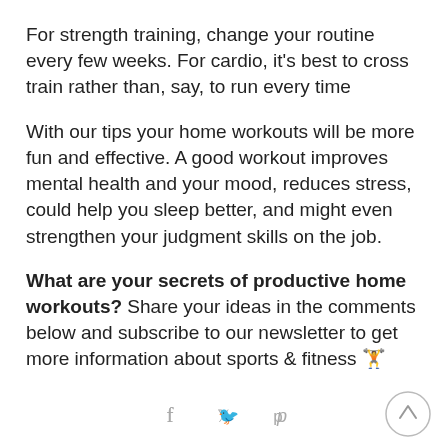For strength training, change your routine every few weeks. For cardio, it's best to cross train rather than, say, to run every time
With our tips your home workouts will be more fun and effective. A good workout improves mental health and your mood, reduces stress, could help you sleep better, and might even strengthen your judgment skills on the job.
What are your secrets of productive home workouts? Share your ideas in the comments below and subscribe to our newsletter to get more information about sports & fitness 🏋
[Figure (other): Social sharing icons: Facebook (f), Twitter (bird), Pinterest (P) and a scroll-to-top button (circle with up arrow)]